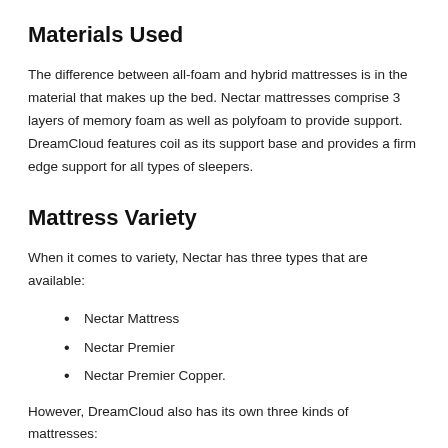Materials Used
The difference between all-foam and hybrid mattresses is in the material that makes up the bed. Nectar mattresses comprise 3 layers of memory foam as well as polyfoam to provide support. DreamCloud features coil as its support base and provides a firm edge support for all types of sleepers.
Mattress Variety
When it comes to variety, Nectar has three types that are available:
Nectar Mattress
Nectar Premier
Nectar Premier Copper.
However, DreamCloud also has its own three kinds of mattresses: